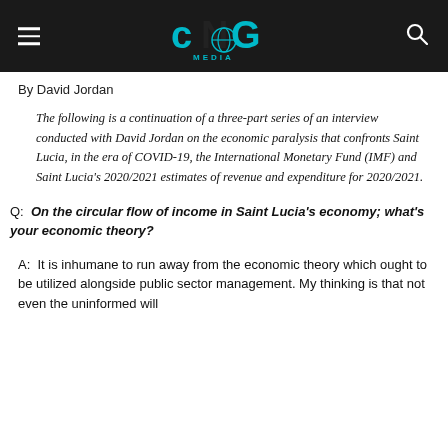CNG Media
By David Jordan
The following is a continuation of a three-part series of an interview conducted with David Jordan on the economic paralysis that confronts Saint Lucia, in the era of COVID-19, the International Monetary Fund (IMF) and Saint Lucia's 2020/2021 estimates of revenue and expenditure for 2020/2021.
Q:  On the circular flow of income in Saint Lucia's economy; what's your economic theory?
A:  It is inhumane to run away from the economic theory which ought to be utilized alongside public sector management. My thinking is that not even the uninformed will